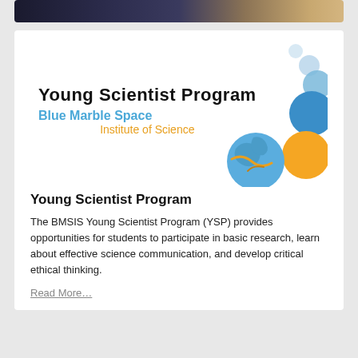[Figure (photo): Dark space/night sky image banner at top of page]
[Figure (logo): Young Scientist Program logo from Blue Marble Space Institute of Science — black bold text 'Young Scientist Program', blue text 'Blue Marble Space', orange text 'Institute of Science', with decorative circles: small light blue circles, medium blue circle, large orange circle, and a blue marble Earth globe graphic arranged in an arc on the right side]
Young Scientist Program
The BMSIS Young Scientist Program (YSP) provides opportunities for students to participate in basic research, learn about effective science communication, and develop critical ethical thinking.
Read More…